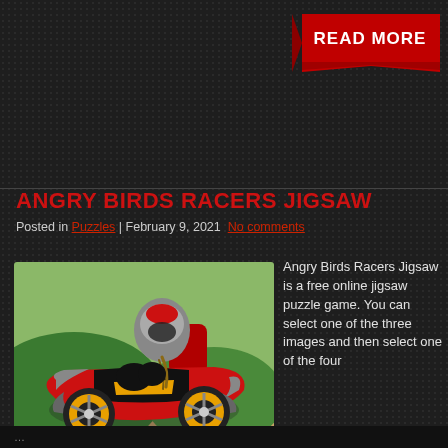[Figure (other): READ MORE banner button in dark red/crimson with white bold text, ribbon shape]
ANGRY BIRDS RACERS JIGSAW
Posted in Puzzles | February 9, 2021 No comments
[Figure (illustration): Angry Birds Racers kart illustration — a red and black racing kart with a grey armored angry bird character, yellow wheels with spokes, on a green and tan outdoor background]
Angry Birds Racers Jigsaw is a free online jigsaw puzzle game. You can select one of the three images and then select one of the four
...